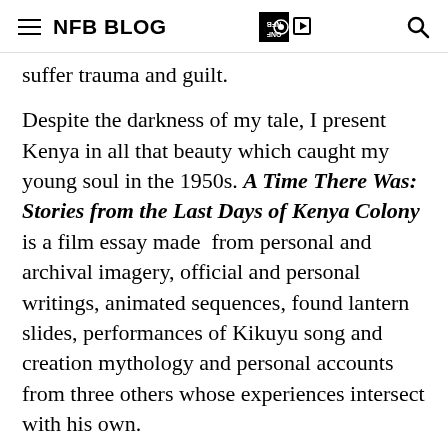NFB BLOG
suffer trauma and guilt.
Despite the darkness of my tale, I present Kenya in all that beauty which caught my young soul in the 1950s. A Time There Was: Stories from the Last Days of Kenya Colony is a film essay made from personal and archival imagery, official and personal writings, animated sequences, found lantern slides, performances of Kikuyu song and creation mythology and personal accounts from three others whose experiences intersect with his own.
Mwaria Njuma, who took the Mau Mau